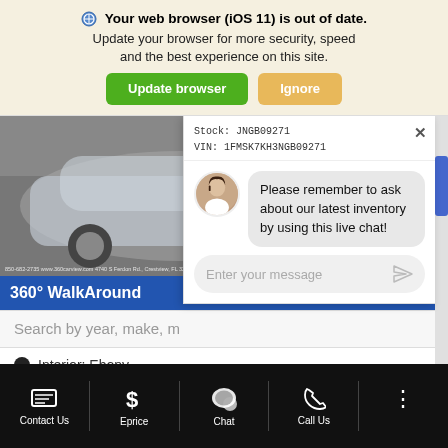🌐 Your web browser (iOS 11) is out of date. Update your browser for more security, speed and the best experience on this site.
Update browser | Ignore
[Figure (screenshot): Screenshot of a car dealership website showing a Ford SUV listing with stock number JNGB09271, VIN 1FMSK7KH3NGB09271, 360° WalkAround label, search bar, Interior: Ebony, Lock In Easy Price button, Learn More button, and a live chat overlay with agent avatar saying 'Please remember to ask about our latest inventory by using this live chat!' and an 'Enter your message' input field.]
Stock: JNGB09271
VIN: 1FMSK7KH3NGB09271
Please remember to ask about our latest inventory by using this live chat!
Enter your message
360° WalkAround
Search by year, make, m
Interior: Ebony
Lock In Easy Price
Learn More
Contact Us | Eprice | Chat | Call Us | ...